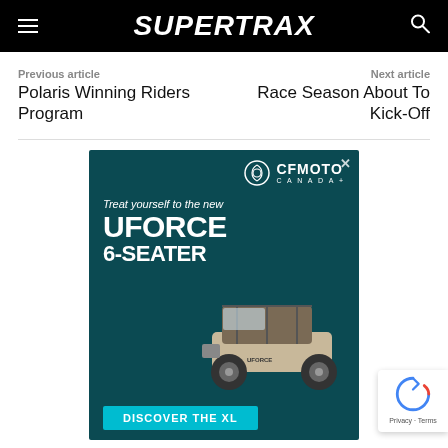SUPERTRAX
Previous article
Polaris Winning Riders Program
Next article
Race Season About To Kick-Off
[Figure (infographic): CFMOTO Canada advertisement for the UFORCE 6-Seater UTV. Dark teal background with CFMOTO logo, text 'Treat yourself to the new UFORCE 6-SEATER', image of a side-by-side UTV, and a teal 'DISCOVER THE XL' call-to-action button.]